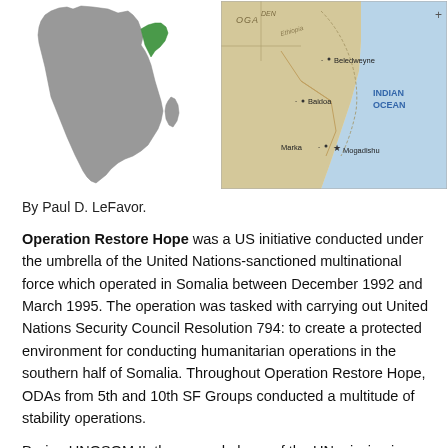[Figure (map): Map of Africa with Somalia highlighted in green on the right side of the continent]
[Figure (map): Detailed map of Somalia showing locations including Beledweyne, Baidoa, Marka, and Mogadishu, with the Indian Ocean labeled to the east]
By Paul D. LeFavor.
Operation Restore Hope was a US initiative conducted under the umbrella of the United Nations-sanctioned multinational force which operated in Somalia between December 1992 and March 1995. The operation was tasked with carrying out United Nations Security Council Resolution 794: to create a protected environment for conducting humanitarian operations in the southern half of Somalia. Throughout Operation Restore Hope, ODAs from 5th and 10th SF Groups conducted a multitude of stability operations.
During UNOSOM II, the second phase of the UN mission in Somalia, General Aidid, a renegade Somali warlord, had killed and injured several soldiers using improvised bombs. In response, President Clinton approved the proposal to deploy a